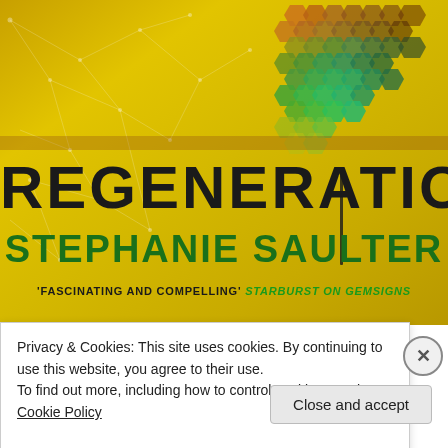[Figure (illustration): Book cover for 'REGENERATION' by Stephanie Saulter. Yellow/gold background with network nodes and lines pattern on left, hexagonal teal/green pattern on upper right, brown horizontal band in middle. Large title text 'REGENERATION' in black, author name 'STEPHANIE SAULTER' in dark green, tagline "'FASCINATING AND COMPELLING' STARBURST ON GEMSIGNS" in black and green italic.]
Privacy & Cookies: This site uses cookies. By continuing to use this website, you agree to their use.
To find out more, including how to control cookies, see here: Cookie Policy